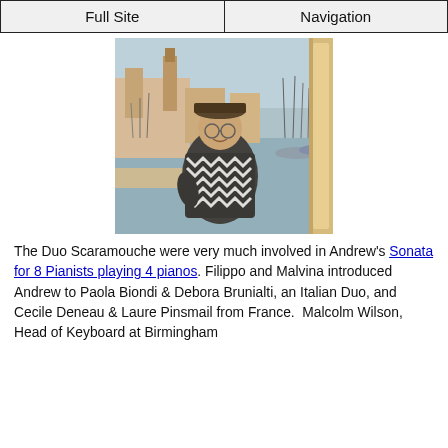Full Site | Navigation
[Figure (photo): A person wearing a patterned sweater and cap, standing at a harbor with boats and a church tower in the background, likely in Italy.]
The Duo Scaramouche were very much involved in Andrew's Sonata for 8 Pianists playing 4 pianos. Filippo and Malvina introduced Andrew to Paola Biondi & Debora Brunialti, an Italian Duo, and Cecile Deneau & Laure Pinsmail from France.  Malcolm Wilson, Head of Keyboard at Birmingham